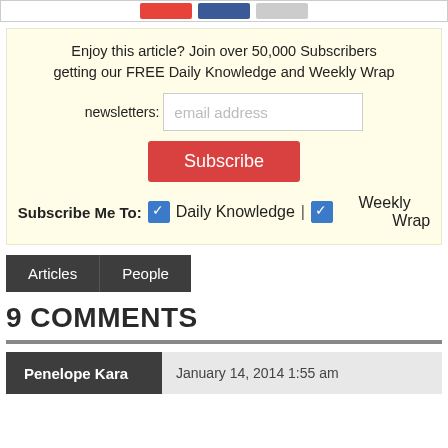[Figure (other): Social sharing buttons (red, blue, gray)]
Enjoy this article? Join over 50,000 Subscribers getting our FREE Daily Knowledge and Weekly Wrap newsletters:
Subscribe
Subscribe Me To: Daily Knowledge | Weekly Wrap
Articles
People
9 COMMENTS
Penelope Kara   January 14, 2014 1:55 am